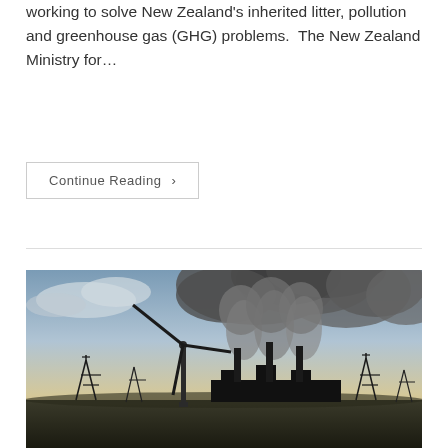working to solve New Zealand's inherited litter, pollution and greenhouse gas (GHG) problems.  The New Zealand Ministry for…
Continue Reading ›
[Figure (photo): A wind turbine in the foreground with industrial smokestacks emitting large plumes of dark smoke and steam in the background, against a partly cloudy sky at dusk or dawn.]